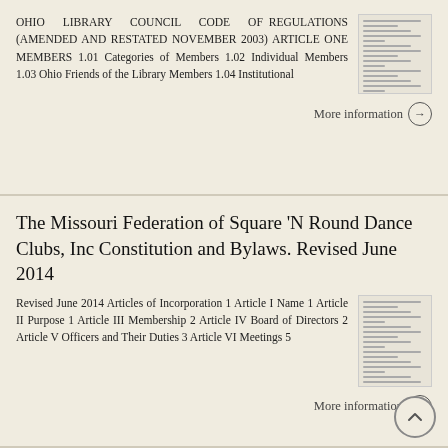OHIO LIBRARY COUNCIL CODE OF REGULATIONS (AMENDED AND RESTATED NOVEMBER 2003) ARTICLE ONE MEMBERS 1.01 Categories of Members 1.02 Individual Members 1.03 Ohio Friends of the Library Members 1.04 Institutional
[Figure (screenshot): Thumbnail image of a document page with small text lines]
More information →
The Missouri Federation of Square 'N Round Dance Clubs, Inc Constitution and Bylaws. Revised June 2014
Revised June 2014 Articles of Incorporation 1 Article I Name 1 Article II Purpose 1 Article III Membership 2 Article IV Board of Directors 2 Article V Officers and Their Duties 3 Article VI Meetings 5
[Figure (screenshot): Thumbnail image of a document page with small text lines]
More information →